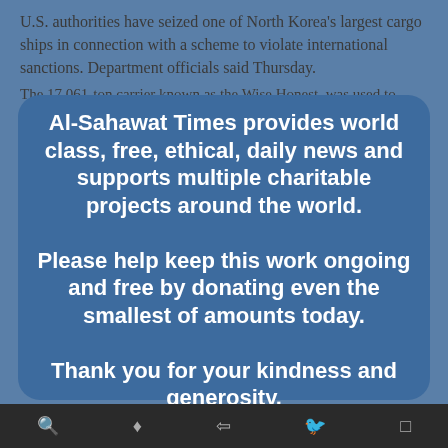U.S. authorities have seized one of North Korea's largest cargo ships in connection with a scheme to violate international sanctions. The 17,061-ton carrier known as the Wise Honest, was used to smuggle heavy machinery into the rogue nation to assist its industrial expansion. Though U.S. authorities said the enormous coal exports have helped to finance North Korea's nuclear proliferation and ballistic missile programs. The civil action taken by the U.S. government involves the first seizure of a North Korean cargo vessel linked to U.N. sanctions.
[Figure (infographic): Modal overlay popup with rounded corners on blue background. Contains bold white text: 'Al-Sahawat Times provides world class, free, ethical, daily news and supports multiple charitable projects around the world. Please help keep this work ongoing and free by donating even the smallest of amounts today. Thank you for your kindness and generosity.' Below is a Donate button (yellow/orange gradient) with payment card icons (Mastercard, Visa, Amex, Direct Debit).]